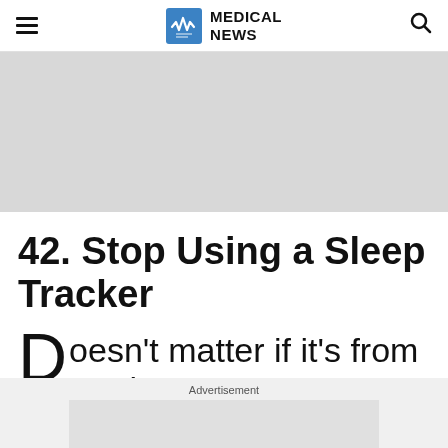MEDICAL NEWS
[Figure (other): Gray banner advertisement placeholder area]
42. Stop Using a Sleep Tracker
Doesn't matter if it's from Apple or
Advertisement